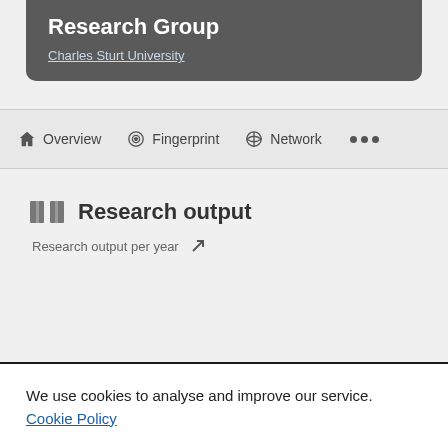Research Group
Charles Sturt University
Overview | Fingerprint | Network | ...
Research output
Research output per year
We use cookies to analyse and improve our service. Cookie Policy